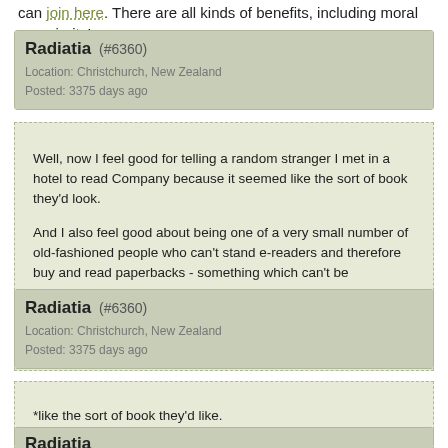can join here. There are all kinds of benefits, including moral superiority!
Radiatia (#6360)
Location: Christchurch, New Zealand
Posted: 3375 days ago
Well, now I feel good for telling a random stranger I met in a hotel to read Company because it seemed like the sort of book they'd look.

And I also feel good about being one of a very small number of old-fashioned people who can't stand e-readers and therefore buy and read paperbacks - something which can't be downloaded... unless you download it and then print it out yourself. Which is more effort/computer savvy that I am capable of.
Radiatia (#6360)
Location: Christchurch, New Zealand
Posted: 3375 days ago
*like the sort of book they'd like.
Radiatia